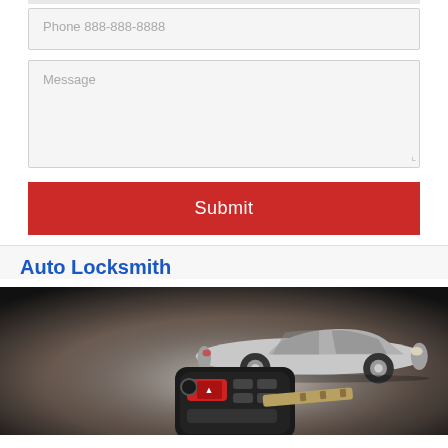Phone 888-888-8888
Message
Submit
Auto Locksmith
[Figure (photo): Photo of car keys with remote fob in foreground and a silver sports car in background on a light surface with dark vignette.]
Use our auto locksmith services available 24 hours a day for the best car lock and key solutions.